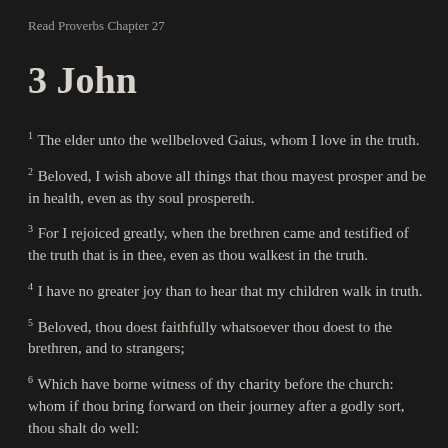Read Proverbs Chapter 27
3 John
1 The elder unto the wellbeloved Gaius, whom I love in the truth.
2 Beloved, I wish above all things that thou mayest prosper and be in health, even as thy soul prospereth.
3 For I rejoiced greatly, when the brethren came and testified of the truth that is in thee, even as thou walkest in the truth.
4 I have no greater joy than to hear that my children walk in truth.
5 Beloved, thou doest faithfully whatsoever thou doest to the brethren, and to strangers;
6 Which have borne witness of thy charity before the church: whom if thou bring forward on their journey after a godly sort, thou shalt do well:
7 Because that for his name's sake they went forth, taking nothing